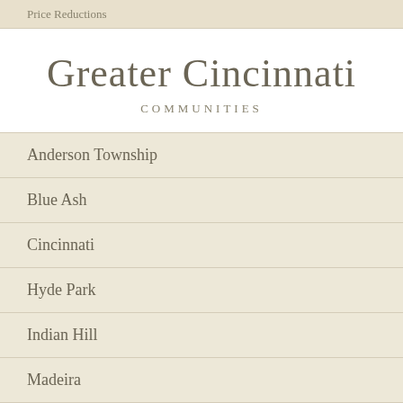Price Reductions
Greater Cincinnati
COMMUNITIES
Anderson Township
Blue Ash
Cincinnati
Hyde Park
Indian Hill
Madeira
Mariemont
Norwood